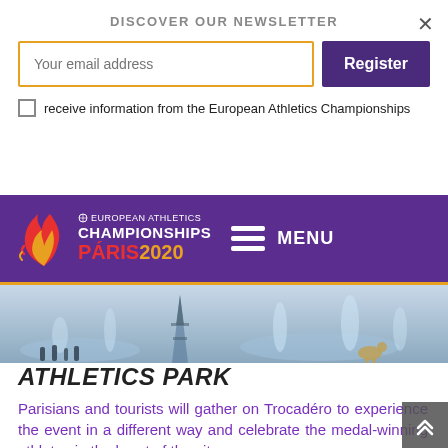DISCOVER OUR NEWSLETTER
Your email address
Register
receive information from the European Athletics Championships
[Figure (logo): European Athletics Championships PARIS 2020 logo with flame graphic and purple navigation bar with hamburger menu and MENU text]
[Figure (photo): Trocadero Paris with Eiffel Tower, fountains, and silhouettes of people]
ATHLETICS PARK
Parisians and tourists will gather on Trocadéro to experience the event in a different way and celebrate the medal-winning athletes in the heart of the city.